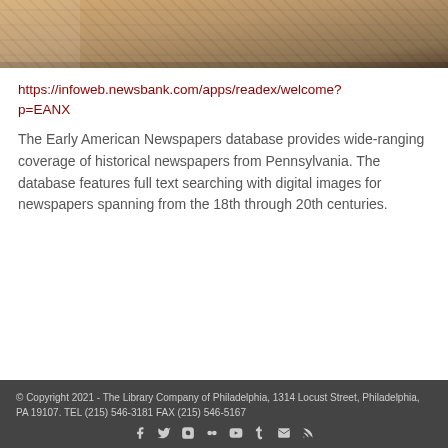[Figure (photo): Partial image of a historical portrait or painting with warm golden-brown tones, showing fabric/clothing detail.]
https://infoweb.newsbank.com/apps/readex/welcome?p=EANX
The Early American Newspapers database provides wide-ranging coverage of historical newspapers from Pennsylvania. The database features full text searching with digital images for newspapers spanning from the 18th through 20th centuries.
© Copyright 2021 - The Library Company of Philadelphia, 1314 Locust Street, Philadelphia, PA 19107. TEL (215) 546-3181 FAX (215) 546-5167